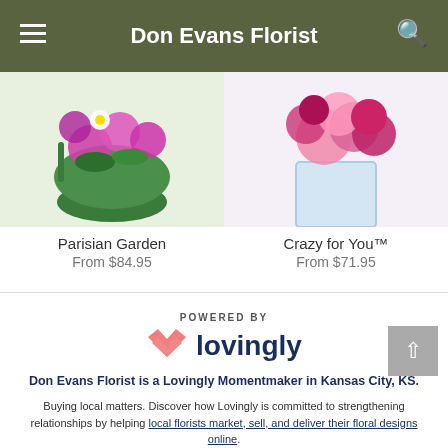Don Evans Florist
[Figure (photo): Parisian Garden floral arrangement in a round green vase with pink and purple flowers and greenery]
Parisian Garden
From $84.95
[Figure (photo): Crazy for You floral arrangement in a clear glass square vase with pink and magenta flowers]
Crazy for You™
From $71.95
[Figure (logo): POWERED BY lovingly logo with pink heart/bow icon and dark navy text]
Don Evans Florist is a Lovingly Momentmaker in Kansas City, KS.
Buying local matters. Discover how Lovingly is committed to strengthening relationships by helping local florists market, sell, and deliver their floral designs online.